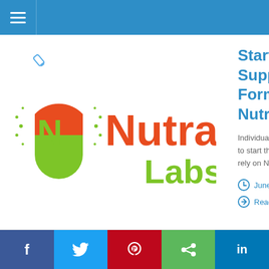Navigation bar with hamburger menu
[Figure (logo): NutraCap Labs logo with orange and green capsule icon and orange/green text]
Start Y... Supple... Formu... NutraC...
Individual... to start th... rely on Nu...
June, 2...
Read M...
Social share bar: Facebook, Twitter, Pinterest, Share, LinkedIn